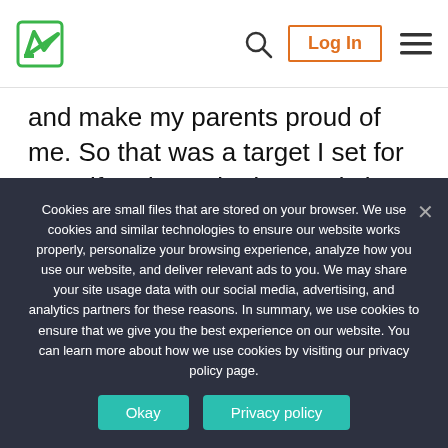[Logo] [Search] Log In [Menu]
and make my parents proud of me. So that was a target I set for myself and I worked towards it. Like I said, it was stressful and it also involved a lot of mind stress. Now, it feels good and fulfilling. The joy of having achieved a major goal in life knows no bounds.
Cookies are small files that are stored on your browser. We use cookies and similar technologies to ensure our website works properly, personalize your browsing experience, analyze how you use our website, and deliver relevant ads to you. We may share your site usage data with our social media, advertising, and analytics partners for these reasons. In summary, we use cookies to ensure that we give you the best experience on our website. You can learn more about how we use cookies by visiting our privacy policy page.
Okay  Privacy policy